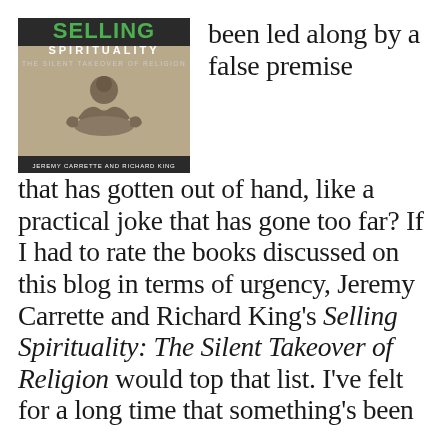[Figure (photo): Book cover of 'Selling Spirituality: The Silent Takeover of Religion' by Jeremy Carrette and Richard King, showing a meditating figure silhouette with the title text overlaid.]
been led along by a false premise that has gotten out of hand, like a practical joke that has gone too far? If I had to rate the books discussed on this blog in terms of urgency, Jeremy Carrette and Richard King's Selling Spirituality: The Silent Takeover of Religion would top that list. I've felt for a long time that something's been